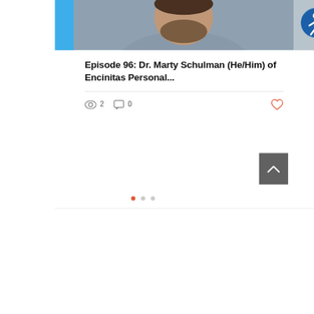[Figure (photo): Headshot photo of Dr. Marty Schulman, a man with a beard wearing a gray shirt, on a gray background]
Episode 96: Dr. Marty Schulman (He/Him) of Encinitas Personal...
2 views  0 comments  0 likes